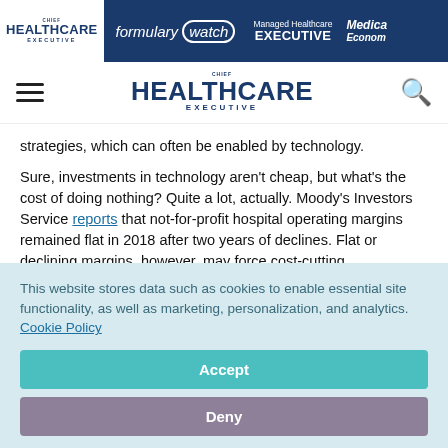Chief Healthcare Executive | Formulary Watch | Managed Healthcare Executive | Medical Economics
Chief Healthcare Executive
strategies, which can often be enabled by technology.
Sure, investments in technology aren't cheap, but what's the cost of doing nothing? Quite a lot, actually. Moody's Investors Service reports that not-for-profit hospital operating margins remained flat in 2018 after two years of declines. Flat or declining margins, however, may force cost-cutting
This website stores data such as cookies to enable essential site functionality, as well as marketing, personalization, and analytics. Cookie Policy
Accept
Deny